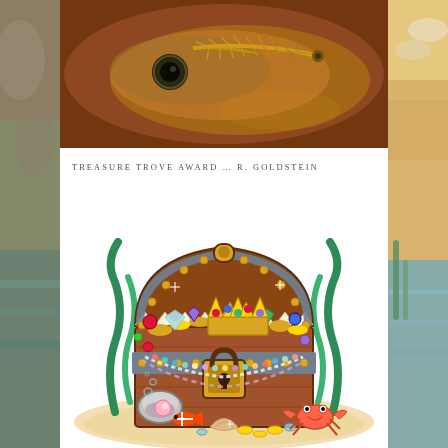[Figure (photo): Close-up photo of a golden/amber fish with a feather or quill resting on it, dark warm-toned background]
TREASURE TROVE AWARD … R. GOLDSTEIN
[Figure (illustration): Cartoon illustration of a treasure chest overflowing with gold, jewels, a crown, pearls, and gems. A crab and clam are at the base on sandy ground with seaweed on the sides.]